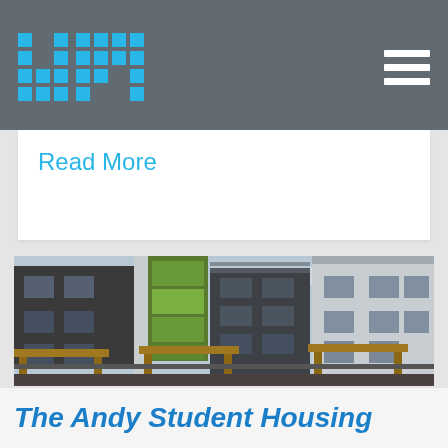WPI
Read More
[Figure (photo): Exterior photo of The Andy Student Housing building — multi-story modern apartment complex with dark grey cladding, a green accent tower, balconies with glass railings, and wooden pergola structures in the foreground courtyard.]
The Andy Student Housing